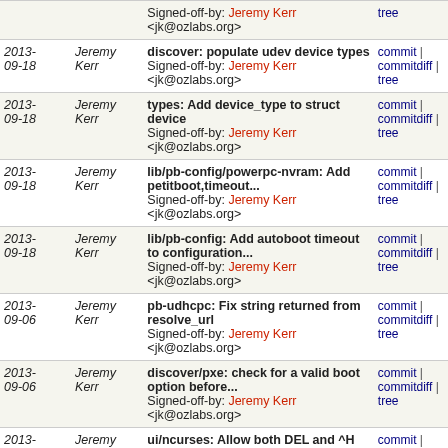| Date | Author | Commit | Links |
| --- | --- | --- | --- |
|  |  | Signed-off-by: Jeremy Kerr <jk@ozlabs.org> | tree |
| 2013-09-18 | Jeremy Kerr | discover: populate udev device types
Signed-off-by: Jeremy Kerr <jk@ozlabs.org> | commit | commitdiff | tree |
| 2013-09-18 | Jeremy Kerr | types: Add device_type to struct device
Signed-off-by: Jeremy Kerr <jk@ozlabs.org> | commit | commitdiff | tree |
| 2013-09-18 | Jeremy Kerr | lib/pb-config/powerpc-nvram: Add petitboot,timeout...
Signed-off-by: Jeremy Kerr <jk@ozlabs.org> | commit | commitdiff | tree |
| 2013-09-18 | Jeremy Kerr | lib/pb-config: Add autoboot timeout to configuration...
Signed-off-by: Jeremy Kerr <jk@ozlabs.org> | commit | commitdiff | tree |
| 2013-09-06 | Jeremy Kerr | pb-udhcpc: Fix string returned from resolve_url
Signed-off-by: Jeremy Kerr <jk@ozlabs.org> | commit | commitdiff | tree |
| 2013-09-06 | Jeremy Kerr | discover/pxe: check for a valid boot option before...
Signed-off-by: Jeremy Kerr <jk@ozlabs.org> | commit | commitdiff | tree |
| 2013-09-06 | Jeremy Kerr | ui/ncurses: Allow both DEL and ^H to map to backspace | commit | commitdiff | tree |